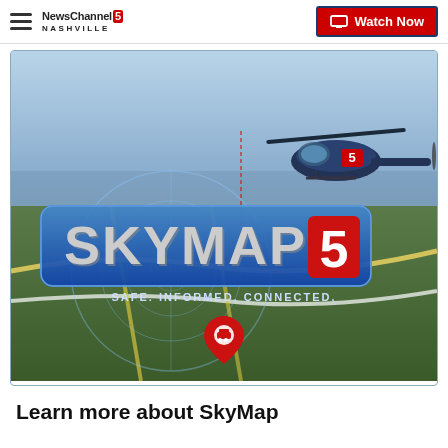NewsChannel 5 NASHVILLE | Watch Now
[Figure (illustration): SkyMap5 promotional image showing a helicopter flying over Nashville with the SKYMAP5 logo, tagline 'SAFE. INFORMED. CONNECTED.' and a map pin icon below]
Learn more about SkyMap